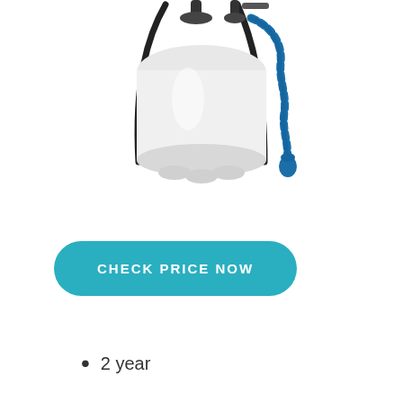[Figure (photo): A white backpack pump sprayer with black shoulder straps and a blue corrugated hose/wand on the right side, with a blue cap at the bottom right. The tank is translucent white plastic.]
CHECK PRICE NOW
2 year